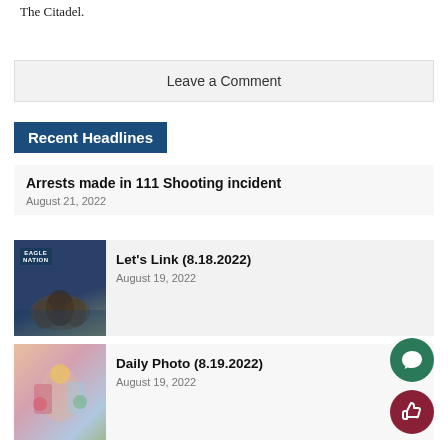The Citadel.
Leave a Comment
Recent Headlines
Arrests made in 111 Shooting incident
August 21, 2022
[Figure (photo): Eagle Nation event photo with people gathered indoors]
Let's Link (8.18.2022)
August 19, 2022
[Figure (photo): Colorful display with balloons and art projects]
Daily Photo (8.19.2022)
August 19, 2022